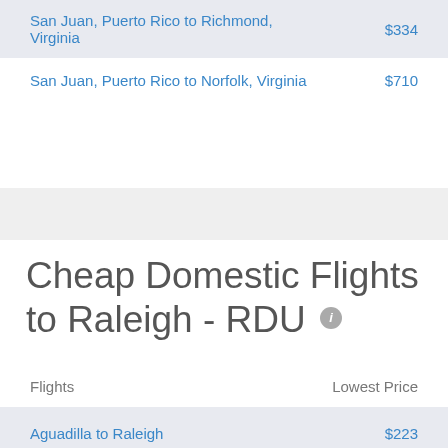| Flights | Lowest Price |
| --- | --- |
| San Juan, Puerto Rico to Richmond, Virginia | $334 |
| San Juan, Puerto Rico to Norfolk, Virginia | $710 |
| Aguadilla to Raleigh | $223 |
Cheap Domestic Flights to Raleigh - RDU